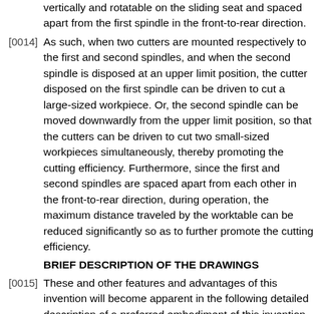vertically and rotatable on the sliding seat and spaced apart from the first spindle in the front-to-rear direction.
[0014] As such, when two cutters are mounted respectively to the first and second spindles, and when the second spindle is disposed at an upper limit position, the cutter disposed on the first spindle can be driven to cut a large-sized workpiece. Or, the second spindle can be moved downwardly from the upper limit position, so that the cutters can be driven to cut two small-sized workpieces simultaneously, thereby promoting the cutting efficiency. Furthermore, since the first and second spindles are spaced apart from each other in the front-to-rear direction, during operation, the maximum distance traveled by the worktable can be reduced significantly so as to further promote the cutting efficiency.
BRIEF DESCRIPTION OF THE DRAWINGS
[0015] These and other features and advantages of this invention will become apparent in the following detailed description of a preferred embodiment of this invention, with reference to the